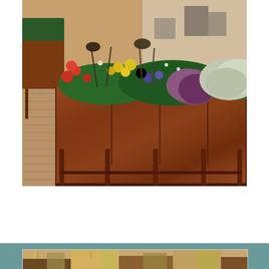[Figure (photo): Photograph of long rectangular corten steel raised planter boxes on legs, filled with colorful fall flowers and plants including red flowers, yellow flowers, purple pansies, purple ornamental kale, and silver dusty miller. The planters sit on a brick patio with outdoor furniture visible in the background.]
[Figure (photo): Partially visible photograph at the bottom of the page showing what appears to be ornamental grasses or similar plants in a landscape setting, visible only as a narrow strip at the very bottom of the page.]